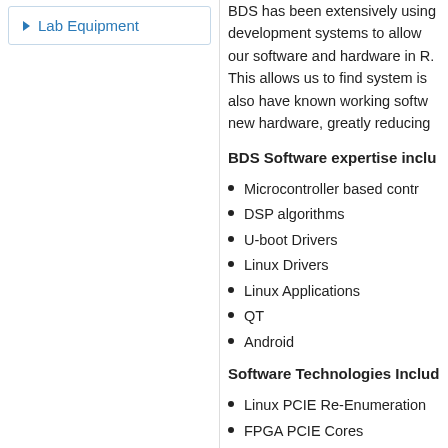Lab Equipment
BDS has been extensively using development systems to allow our software and hardware in R. This allows us to find system is also have known working softw new hardware, greatly reducing
BDS Software expertise inclu
Microcontroller based contr
DSP algorithms
U-boot Drivers
Linux Drivers
Linux Applications
QT
Android
Software Technologies Includ
Linux PCIE Re-Enumeration
FPGA PCIE Cores
Android touchscreen